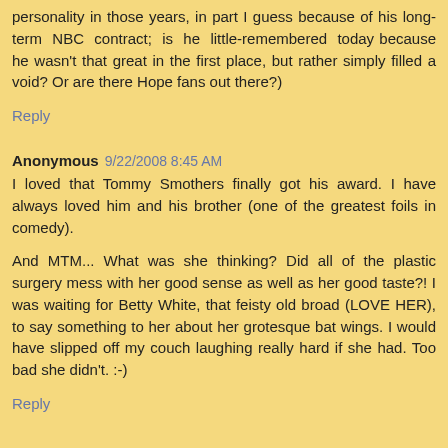personality in those years, in part I guess because of his long-term NBC contract; is he little-remembered today because he wasn't that great in the first place, but rather simply filled a void? Or are there Hope fans out there?)
Reply
Anonymous 9/22/2008 8:45 AM
I loved that Tommy Smothers finally got his award. I have always loved him and his brother (one of the greatest foils in comedy).
And MTM... What was she thinking? Did all of the plastic surgery mess with her good sense as well as her good taste?! I was waiting for Betty White, that feisty old broad (LOVE HER), to say something to her about her grotesque bat wings. I would have slipped off my couch laughing really hard if she had. Too bad she didn't. :-)
Reply